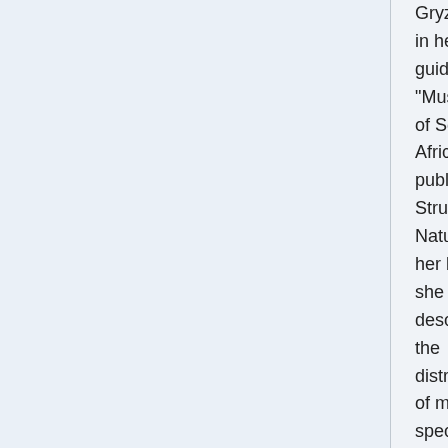Gryzenhout in her guidebook "Mushrooms of South Africa" published by Struik Nature. In her book, she describes the distribution of many species "widespread." So MushroomMAP provides the opportunity to make a real contribution to our